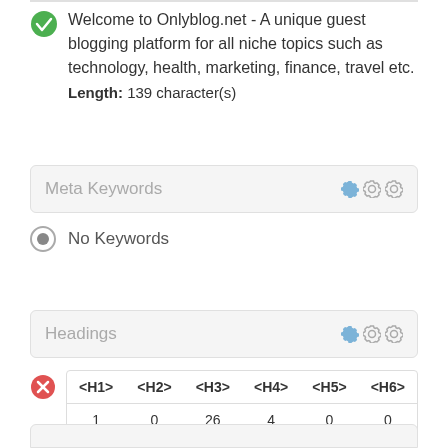Welcome to Onlyblog.net - A unique guest blogging platform for all niche topics such as technology, health, marketing, finance, travel etc.
Length: 139 character(s)
Meta Keywords
No Keywords
Headings
| <H1> | <H2> | <H3> | <H4> | <H5> | <H6> |
| --- | --- | --- | --- | --- | --- |
| 1 | 0 | 26 | 4 | 0 | 0 |